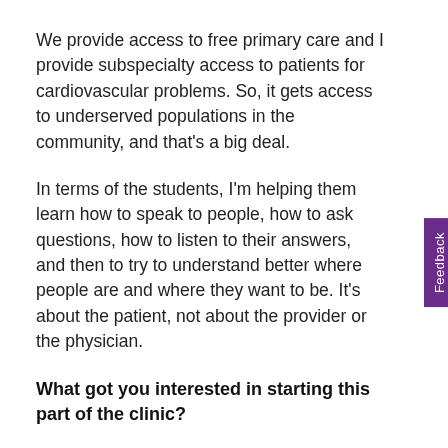We provide access to free primary care and I provide subspecialty access to patients for cardiovascular problems. So, it gets access to underserved populations in the community, and that's a big deal.
In terms of the students, I'm helping them learn how to speak to people, how to ask questions, how to listen to their answers, and then to try to understand better where people are and where they want to be. It's about the patient, not about the provider or the physician.
What got you interested in starting this part of the clinic?
I was born and raised in Puerto Rico, so I'm Latino in origin. Throughout my entire medical education, I have always taken an interest in making sure that people from their backgrounds have access to quality care. So I need